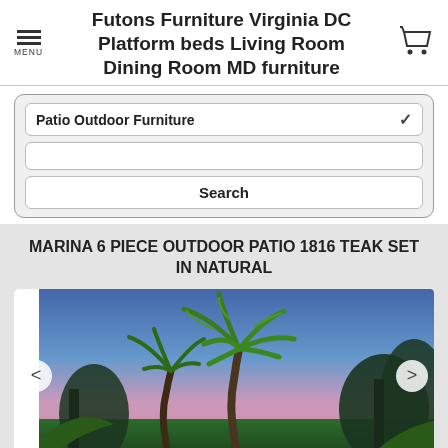Futons Furniture Virginia DC Platform beds Living Room Dining Room MD furniture
MARINA 6 PIECE OUTDOOR PATIO 1816 TEAK SET IN NATURAL
[Figure (photo): Outdoor patio scene with palm trees and tropical vegetation against a dusk sky with blue and pink hues]